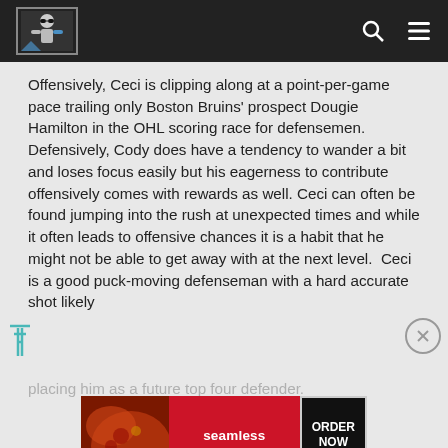Navigation bar with logo, search and menu icons
Offensively, Ceci is clipping along at a point-per-game pace trailing only Boston Bruins' prospect Dougie Hamilton in the OHL scoring race for defensemen. Defensively, Cody does have a tendency to wander a bit and loses focus easily but his eagerness to contribute offensively comes with rewards as well. Ceci can often be found jumping into the rush at unexpected times and while it often leads to offensive chances it is a habit that he might not be able to get away with at the next level. Ceci is a good puck-moving defenseman with a hard accurate shot likely
placing him as a future top four defender.
[Figure (screenshot): Seamless food ordering advertisement banner with pizza image and ORDER NOW button]